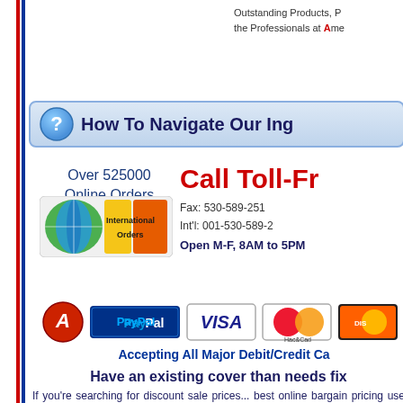Outstanding Products, P... the Professionals at Ame...
How To Navigate Our Ing...
Over 525000 Online Orders
[Figure (logo): International Orders badge with colorful globe graphic]
Call Toll-Fr... Fax: 530-589-251... Int'l: 001-530-589-2... Open M-F, 8AM to 5PM
[Figure (logo): Payment method icons: PayPal, Visa, MasterCard, Discover]
Accepting All Major Debit/Credit Ca...
Have an existing cover than needs fix...
If you're searching for discount sale prices... best online bargain pricing use the green "..." corner of this page. We invite you to comp... our merchandise. We offer coupon-less sal... need at a low cost. We're proud to be ... enthusiasts and professional dealers alike.
Looking for Inground Pool Cover replace... and guides on how to repair or fix a used c...